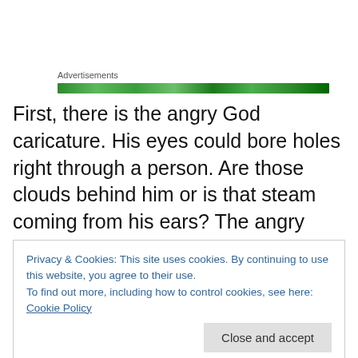Advertisements
[Figure (other): Green advertisement banner bar]
First, there is the angry God caricature. His eyes could bore holes right through a person. Are those clouds behind him or is that steam coming from his ears? The angry God is always mad at someone.
Then there is the killjoy God, who always wears a permanent scowl. His eyes “go to and fro throughout the
Privacy & Cookies: This site uses cookies. By continuing to use this website, you agree to their use.
To find out more, including how to control cookies, see here: Cookie Policy
Close and accept
shining though clouds in some distant heaven, reminding